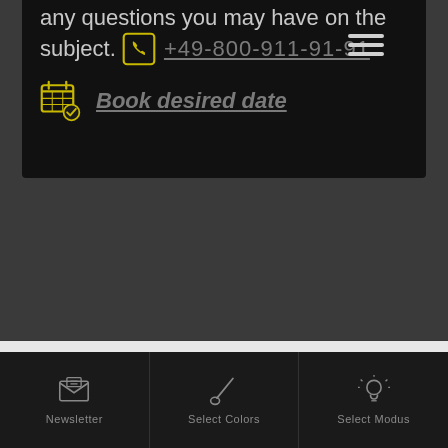any questions you may have on the subject.
+49-800-911-91-91
Book desired date
[Figure (screenshot): Bottom navigation bar with Newsletter (envelope icon), Select Colors (paintbrush icon), Select Modus (lightbulb icon)]